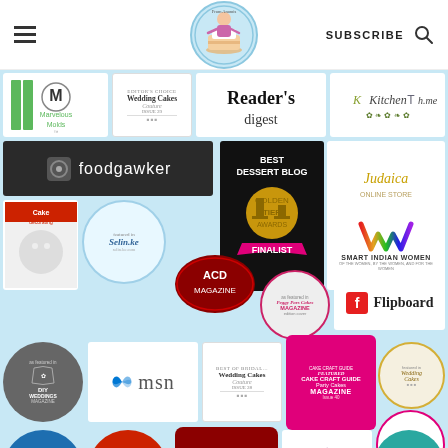Menu | From Anamis (logo) | SUBSCRIBE | Search
[Figure (infographic): Collage of press features and awards badges including Marvelous Molds, Reader's Digest, KitchenThyme, foodgawker, Judaica, Wedding Cakes Couture, Best Dessert Blog Golden Tier Awards Finalist, Smart Indian Women, ACD Magazine, Peggy Pors Cakes Magazine, Flipboard, DIY Weddings Magazine, MSN, Featured Party Cakes Magazine, Wedding Cakes, Peggy Pors Blog, Cake Blue, Cake Red, ACD Magazine, Sugar, cakes, Cake teal]